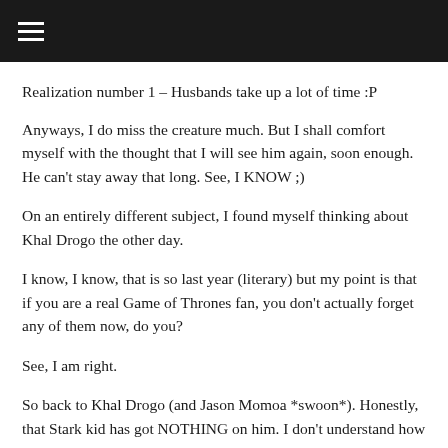☰ (menu icon)
Realization number 1 – Husbands take up a lot of time :P
Anyways, I do miss the creature much. But I shall comfort myself with the thought that I will see him again, soon enough. He can't stay away that long. See, I KNOW ;)
On an entirely different subject, I found myself thinking about Khal Drogo the other day.
I know, I know, that is so last year (literary) but my point is that if you are a real Game of Thrones fan, you don't actually forget any of them now, do you?
See, I am right.
So back to Khal Drogo (and Jason Momoa *swoon*). Honestly, that Stark kid has got NOTHING on him. I don't understand how the mighty Dragon Queen ended up bedding that whiny, puny fellow who's only skill is bad decision making and getting himself (and his troop) into hot water (or into the midst of Undead/Wildling/Lanister